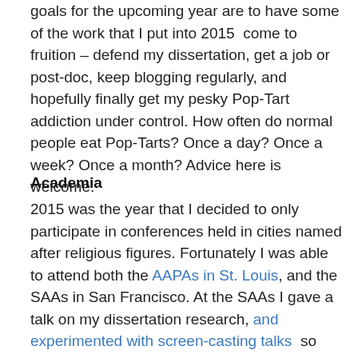goals for the upcoming year are to have some of the work that I put into 2015 come to fruition – defend my dissertation, get a job or post-doc, keep blogging regularly, and hopefully finally get my pesky Pop-Tart addiction under control. How often do normal people eat Pop-Tarts? Once a day? Once a week? Once a month? Advice here is welcome.
Academia
2015 was the year that I decided to only participate in conferences held in cities named after religious figures. Fortunately I was able to attend both the AAPAs in St. Louis, and the SAAs in San Francisco. At the SAAs I gave a talk on my dissertation research, and experimented with screen-casting talks so that people could hear what I had to say, even if they didn't attend the conference. This ground-breaking approach to conference presentations